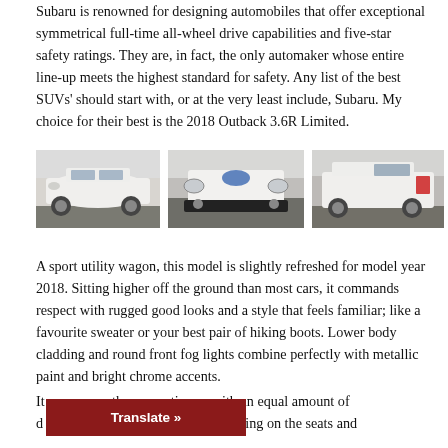Subaru is renowned for designing automobiles that offer exceptional symmetrical full-time all-wheel drive capabilities and five-star safety ratings. They are, in fact, the only automaker whose entire line-up meets the highest standard for safety. Any list of the best SUVs' should start with, or at the very least include, Subaru. My choice for their best is the 2018 Outback 3.6R Limited.
[Figure (photo): Three photos of a white Subaru Outback 2018 in a parking lot: front-three-quarter view, front close-up view, and rear-three-quarter view.]
A sport utility wagon, this model is slightly refreshed for model year 2018. Sitting higher off the ground than most cars, it commands respect with rugged good looks and a style that feels familiar; like a favourite sweater or your best pair of hiking boots. Lower body cladding and round front fog lights combine perfectly with metallic paint and bright chrome accents.
It theme continues, with an equal amount of d nce. Lighter coloured stitching on the seats and